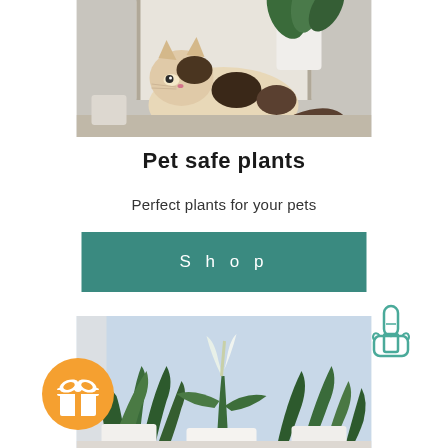[Figure (photo): A calico cat lying on a windowsill next to a plant in a white pot]
Pet safe plants
Perfect plants for your pets
[Figure (other): Teal/green rectangular shop button with text 'Shop' in spaced white letters]
[Figure (photo): A collection of green indoor plants including peace lily and ZZ plant in white pots near a window]
[Figure (illustration): Orange circle with white gift box icon]
[Figure (illustration): Teal outline illustration of a pointing hand/finger cursor]